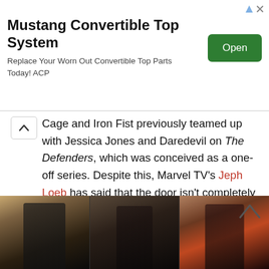[Figure (other): Advertisement banner for 'Mustang Convertible Top System' with green 'Open' button and ad icons in top right corner.]
Cage and Iron Fist previously teamed up with Jessica Jones and Daredevil on The Defenders, which was conceived as a one-off series. Despite this, Marvel TV's Jeph Loeb has said that the door isn't completely closed on a second season, possibly with a new lineup of characters. A second season of this show, like Heroes for Hire, could be used to resolve hanging plot threads. But, again, Netflix seems to be in no hurry to renew this show or to create a new Marvel series.
Crossover with Other Marvel Shows
[Figure (photo): Three-panel photo strip showing Marvel Netflix characters: Punisher (man in black with skull symbol), Jessica Jones (woman in dark outfit), and Daredevil (figure in red mask).]